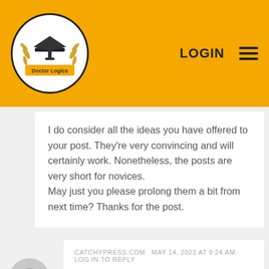[Figure (logo): Doctor Logics logo — graduation cap inside an oval with wheat/laurel decoration and a banner reading 'Doctor Logics']
LOGIN
I do consider all the ideas you have offered to your post. They're very convincing and will certainly work. Nonetheless, the posts are very short for novices.
May just you please prolong them a bit from next time? Thanks for the post.
CATCHYPRESS.COM   MAY 14, 2022 AT 9:24 AM   LOG IN TO REPLY
Wow, this piece of writing is nice, my younger sister is analyzing these kinds of things, so I am going to convey her.